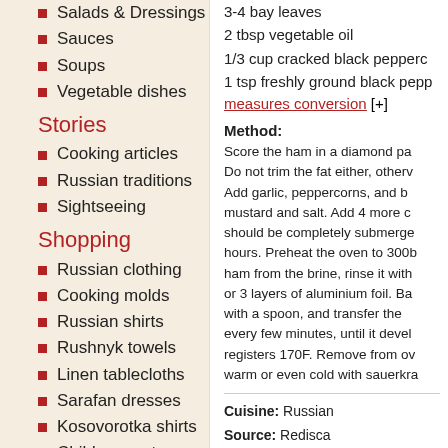Salads & Dressings
Sauces
Soups
Vegetable dishes
Stories
Cooking articles
Russian traditions
Sightseeing
Shopping
Russian clothing
Cooking molds
Russian shirts
Rushnyk towels
Linen tablecloths
Sarafan dresses
Kosovorotka shirts
Children costumes
3-4 bay leaves
2 tbsp vegetable oil
1/3 cup cracked black peppercorns
1 tsp freshly ground black pepper
measures conversion [+]
Method:
Score the ham in a diamond pa... Do not trim the fat either, otherv... Add garlic, peppercorns, and b... mustard and salt. Add 4 more c... should be completely submerge... hours. Preheat the oven to 300b... ham from the brine, rinse it with... or 3 layers of aluminium foil. Ba... with a spoon, and transfer the... every few minutes, until it devel... registers 170F. Remove from o... warm or even cold with sauerkra...
Cuisine: Russian
Source: Redisca
Recipe category: Meat-Dishes >